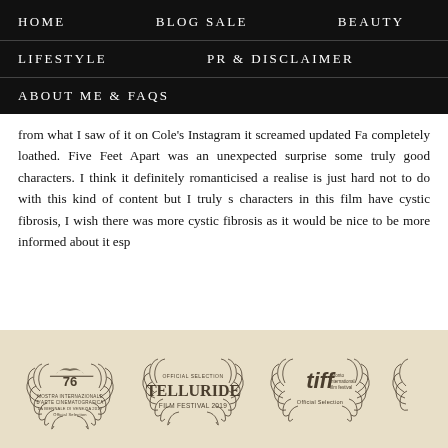HOME   BLOG SALE   BEAUTY   LIFESTYLE   PR & DISCLAIMER   ABOUT ME & FAQs
from what I saw of it on Cole's Instagram it screamed updated Fa completely loathed. Five Feet Apart was an unexpected surprise some truly good characters. I think it definitely romanticised a realise is just hard not to do with this kind of content but I truly s characters in this film have cystic fibrosis, I wish there was more cystic fibrosis as it would be nice to be more informed about it esp
[Figure (other): Film festival official selection badges on a beige/tan background: Mostra Internazionale d'Arte Cinematografica La Biennale di Venezia 76 Official Selection, Official Selection Telluride Film Festival 2019, tiff toronto international film festival Official Selection, and a partially visible fourth badge.]